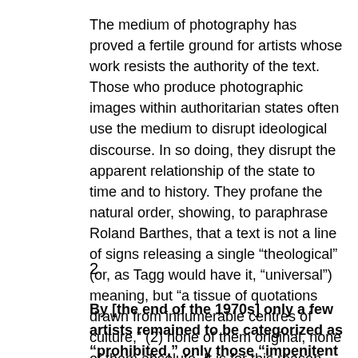The medium of photography has proved a fertile ground for artists whose work resists the authority of the text. Those who produce photographic images within authoritarian states often use the medium to disrupt ideological discourse. In so doing, they disrupt the apparent relationship of the state to time and to history. They profane the natural order, showing, to paraphrase Roland Barthes, that a text is not a line of signs releasing a single “theological” (or, as Tagg would have it, “universal”) meaning, but “a tissue of quotations drawn from innumerable centres of culture,” (2) none of them original, none of them absolute. It is for this reason that artists working within authoritarian regimes are often prohibited from producing photographs that do not bear the authorization of the state.
2.
By [the end of the 1970s] only a few artists remained to be categorized as “prohibited,” only those “impenitent recalcitrans” [sic] like… Tibor Hajas… who, at times deliberately